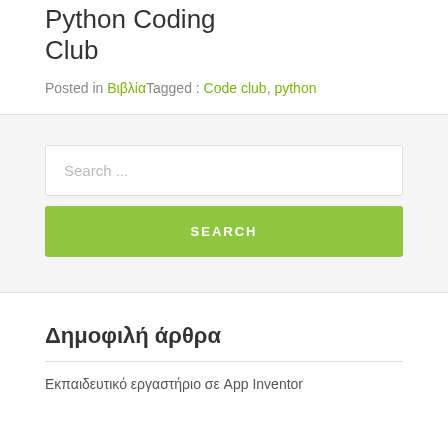Python Coding Club
Posted in ΒιβλίαTagged : Code club, python
[Figure (other): Search widget area with a text input field labeled 'Search ...' and a green SEARCH button]
Δημοφιλή άρθρα
Εκπαιδευτικό εργαστήριο σε App Inventor